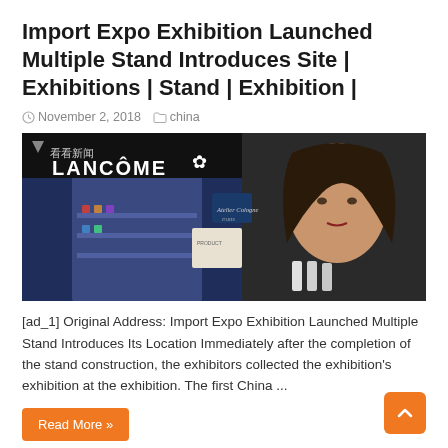Import Expo Exhibition Launched Multiple Stand Introduces Site | Exhibitions | Stand | Exhibition |
November 2, 2018   china
[Figure (photo): Lancôme store display at an exhibition with Chinese news logo, showing cosmetics and a woman's portrait advertisement]
[ad_1] Original Address: Import Expo Exhibition Launched Multiple Stand Introduces Its Location Immediately after the completion of the stand construction, the exhibitors collected the exhibition's exhibition at the exhibition. The first China ...
Read More »